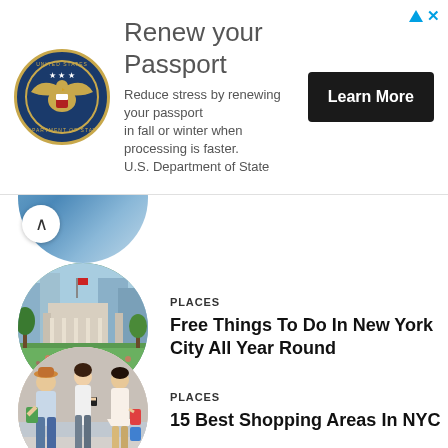[Figure (other): Advertisement banner: U.S. Department of State seal logo with text 'Renew your Passport - Reduce stress by renewing your passport in fall or winter when processing is faster. U.S. Department of State' and a 'Learn More' button]
[Figure (photo): Partially visible circular photo of water/harbor scene, cut off at top]
[Figure (photo): Circular photo of Bryant Park NYC with crowd on green lawn, city buildings in background]
PLACES
Free Things To Do In New York City All Year Round
[Figure (photo): Circular photo of women shopping on NYC street carrying colorful bags]
PLACES
15 Best Shopping Areas In NYC